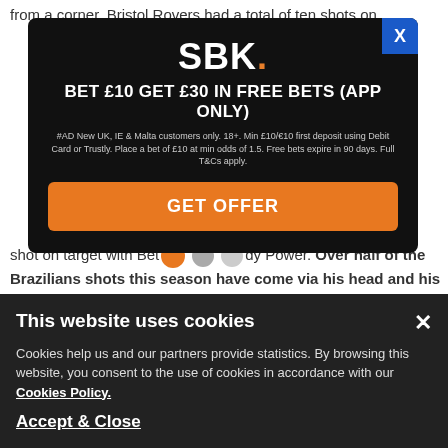from a corner. Bristol Rovers had a total of ten shots on
[Figure (infographic): SBK betting advertisement overlay on dark background. Logo: SBK. Headline: BET £10 GET £30 IN FREE BETS (APP ONLY). Terms text. Orange GET OFFER button. Close X button in blue top-right corner.]
shot on target with Bet [orange dot] [gray dots] Paddy Power. Over half of the Brazilians shots this season have come via his head and his xG of 0.63 from his head is greater than the total xG from both of his feet (0.51).
In his eleven EPL starts this season, he's only failed to
[Figure (infographic): Cookie consent banner on dark background. Title: This website uses cookies. Body text about cookies policy. Link: Cookies Policy. Accept & Close button. X close button top right.]